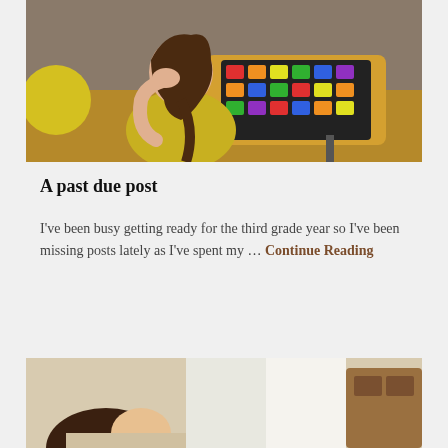[Figure (photo): A young girl in a yellow shirt sitting at a school desk with a colorful keyboard, resting her chin on her hand and looking at the camera.]
A past due post
I've been busy getting ready for the third grade year so I've been missing posts lately as I've spent my … Continue Reading
[Figure (photo): Bottom portion of another photo showing a child, partially visible, with a wooden furniture piece in the background.]